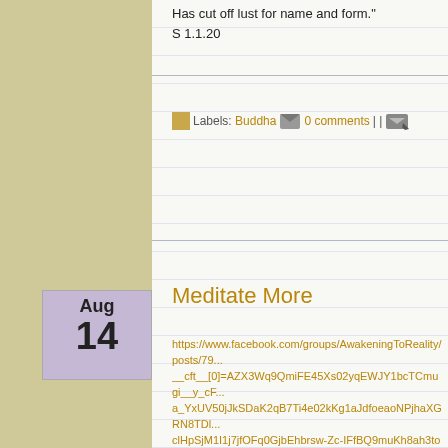Has cut off lust for name and form."
S 1.1.20
Labels: Buddha  0 comments | |
Meditate More
https://www.facebook.com/groups/AwakeningToReality/posts/79...__cft__[0]=AZX3Wq9QmiFE45Xs02yqEWJY1bcTCmugi__y_cF...a_YxUV50jJkSDaK2qB7Ti4e02kKg1aJdfoeaoNPjhaXGRN8TDl...clHpSjM1I1j7jfOFq0GjbEhbrsw-Zc-IFfBQ9muKh8ah3toc2RKpQ...
Active
Soh Wei Yu
Admin
I generally meditate everyday but still it is not good enough. ...meditate more. Also he told me months ago that he sits about 2 ...he has been doing self-retreat).
John Tan: "This period I progress tremendously. Stability of mir...